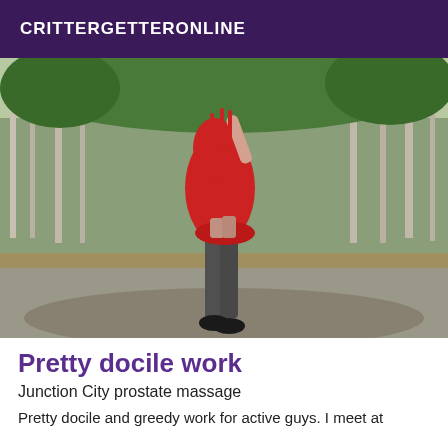CRITTERGETTERONLINE
[Figure (photo): A person wearing a red dress and black shoes standing on a road with trees in the background, photographed from the side.]
Pretty docile work
Junction City prostate massage
Pretty docile and greedy work for active guys. I meet at